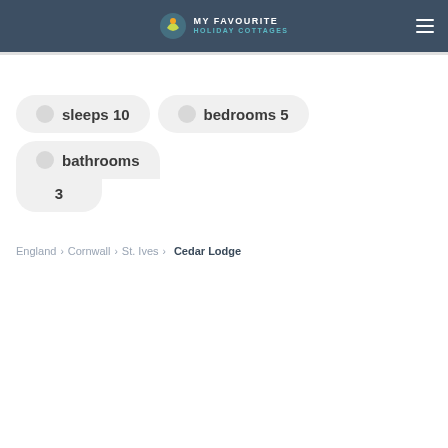MY FAVOURITE HOLIDAY COTTAGES
sleeps 10   bedrooms 5   bathrooms 3
England > Cornwall > St. Ives > Cedar Lodge